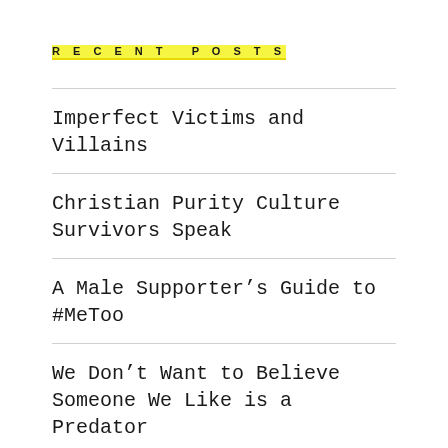RECENT POSTS
Imperfect Victims and Villains
Christian Purity Culture Survivors Speak
A Male Supporter's Guide to #MeToo
We Don't Want to Believe Someone We Like is a Predator
Domestic Violence Isn't the Victim's Problem. It's OUR Problem.